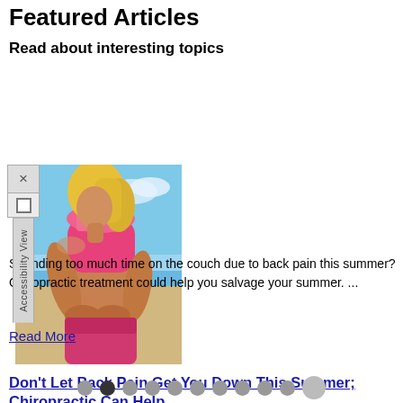Featured Articles
Read about interesting topics
[Figure (photo): Woman in pink athletic wear holding her lower back, standing on a beach with blue water in the background]
Don't Let Back Pain Get You Down This Summer; Chiropractic Can Help
Spending too much time on the couch due to back pain this summer? Chiropractic treatment could help you salvage your summer. ...
Read More